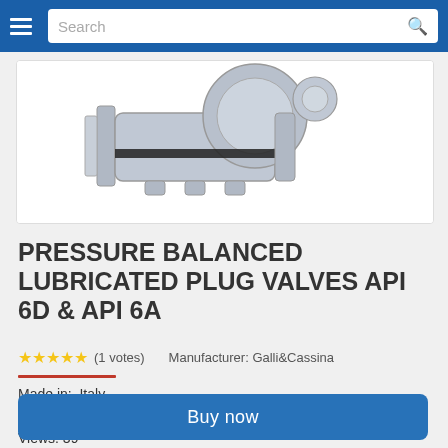Search
[Figure (photo): Partial photo of a grey pressure balanced lubricated plug valve, showing metallic body with flanged ends and circular top disc against white background]
PRESSURE BALANCED LUBRICATED PLUG VALVES API 6D & API 6A
★★★★★ (1 votes)   Manufacturer: Galli&Cassina
Made in:  Italy
Price:  Call us
Views: 39
Buy now